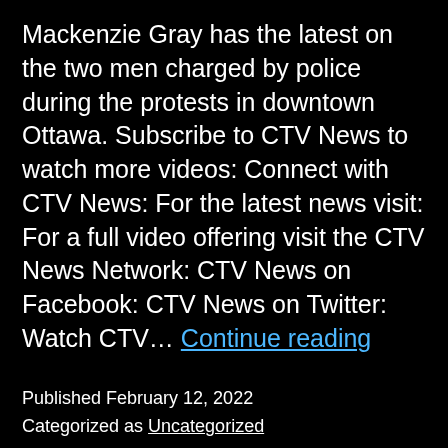Mackenzie Gray has the latest on the two men charged by police during the protests in downtown Ottawa. Subscribe to CTV News to watch more videos: Connect with CTV News: For the latest news visit: For a full video offering visit the CTV News Network: CTV News on Facebook: CTV News on Twitter: Watch CTV… Continue reading
Published February 12, 2022
Categorized as Uncategorized
Tagged canada, canada coronavirus, Canada News, charged, coronavirus, coronavirus update, covid 19, COVID 19 Canada, covid cases, COVID-19 Cases, CTV